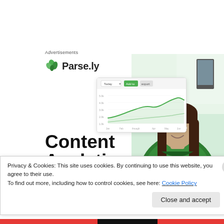Advertisements
[Figure (logo): Parse.ly logo with green leaf icon and bold text 'Parse.ly']
[Figure (screenshot): Parse.ly analytics dashboard screenshot showing line chart with green graph]
[Figure (photo): Woman with brown hair wearing green sweater, smiling, in a home/office setting]
Content Analytics Made Easy
Privacy & Cookies: This site uses cookies. By continuing to use this website, you agree to their use.
To find out more, including how to control cookies, see here: Cookie Policy
Close and accept